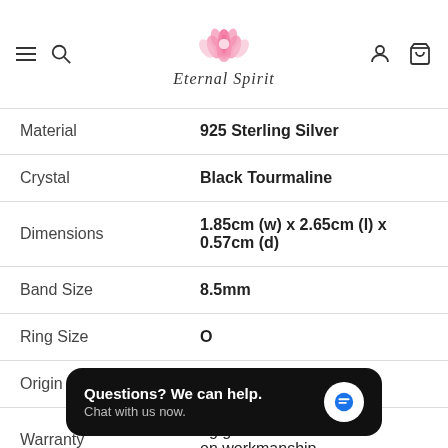[Figure (logo): Eternal Spirit brand logo with pink lotus flower and cursive brand name]
| Material | 925 Sterling Silver |
| Crystal | Black Tourmaline |
| Dimensions | 1.85cm (w) x 2.65cm (l) x 0.57cm (d) |
| Band Size | 8.5mm |
| Ring Size | O |
| Origin | Brazil |
| Warranty | ...ng guarantee on workmanship |
[Figure (screenshot): Chat widget overlay: 'Questions? We can help. Chat with us now.' with blue chat bubble icon]